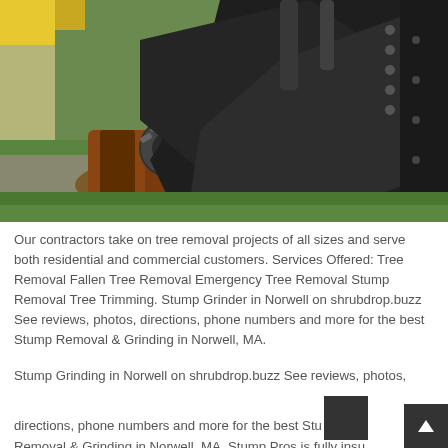[Figure (photo): A stump grinder machine with dark metal cutting attachment grinding a tree stump on a grassy area. The machine has a large curved dark metal body with chain mechanism visible. A reddish-brown tree stump is visible to the left of the blade. The background shows green grass and dirt.]
Our contractors take on tree removal projects of all sizes and serve both residential and commercial customers. Services Offered: Tree Removal Fallen Tree Removal Emergency Tree Removal Stump Removal Tree Trimming. Stump Grinder in Norwell on shrubdrop.buzz See reviews, photos, directions, phone numbers and more for the best Stump Removal & Grinding in Norwell, MA.
Stump Grinding in Norwell on shrubdrop.buzz See reviews, photos, directions, phone numbers and more for the best Stump Removal & Grinding in Norwell, MA. Stump Pros is fully insu...